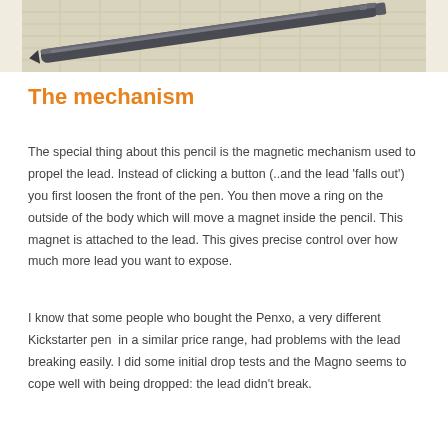[Figure (photo): A mechanical pencil resting on graph/grid paper, viewed from above at a slight angle. The pencil is dark metallic, positioned diagonally across light-colored grid paper.]
The mechanism
The special thing about this pencil is the magnetic mechanism used to propel the lead. Instead of clicking a button (..and the lead 'falls out') you first loosen the front of the pen. You then move a ring on the outside of the body which will move a magnet inside the pencil. This magnet is attached to the lead. This gives precise control over how much more lead you want to expose.
I know that some people who bought the Penxo, a very different Kickstarter pen  in a similar price range, had problems with the lead breaking easily. I did some initial drop tests and the Magno seems to cope well with being dropped: the lead didn't break.